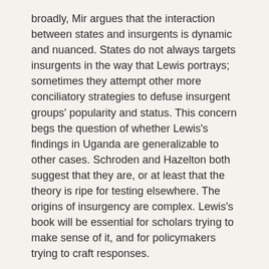broadly, Mir argues that the interaction between states and insurgents is dynamic and nuanced. States do not always targets insurgents in the way that Lewis portrays; sometimes they attempt other more conciliatory strategies to defuse insurgent groups' popularity and status. This concern begs the question of whether Lewis's findings in Uganda are generalizable to other cases. Schroden and Hazelton both suggest that they are, or at least that the theory is ripe for testing elsewhere. The origins of insurgency are complex. Lewis's book will be essential for scholars trying to make sense of it, and for policymakers trying to craft responses.
Participants:
Janet I. Lewis is an Assistant Professor of Political Science and International Affairs at George Washington University. Previously, she was an Assistant Professor of Political Science at the U.S. Naval Academy. Her research focuses on political violence, state formation, and rural social networks' influence on intergroup prejudice, primarily in Africa. Her book, How